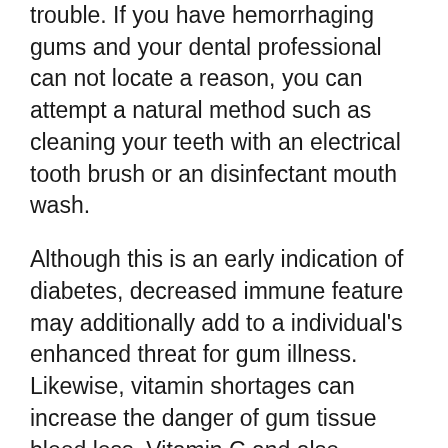trouble. If you have hemorrhaging gums and your dental professional can not locate a reason, you can attempt a natural method such as cleaning your teeth with an electrical tooth brush or an disinfectant mouth wash.
Although this is an early indication of diabetes, decreased immune feature may additionally add to a individual's enhanced threat for gum illness. Likewise, vitamin shortages can increase the danger of gum tissue blood loss. Vitamin C and also vitamin K consumption can help in reducing gum tissue blood loss. As mentioned above, a healthy diet regimen can aid prevent the start of bleeding gums. The major goal is to get your teeth to look their finest and feel excellent. The blood loss gums caused by